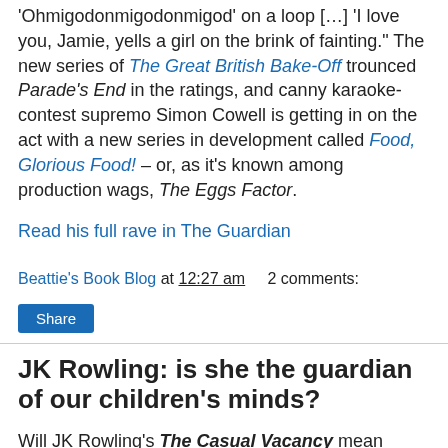'Ohmigodonmigodonmigod' on a loop […] 'I love you, Jamie, yells a girl on the brink of fainting.' The new series of The Great British Bake-Off trounced Parade's End in the ratings, and canny karaoke-contest supremo Simon Cowell is getting in on the act with a new series in development called Food, Glorious Food! – or, as it's known among production wags, The Eggs Factor.
Read his full rave in The Guardian
Beattie's Book Blog at 12:27 am    2 comments:
Share
JK Rowling: is she the guardian of our children's minds?
Will JK Rowling's The Casual Vacancy mean parents turn their backs on Harry Potter? asks Lorna Bradbury.